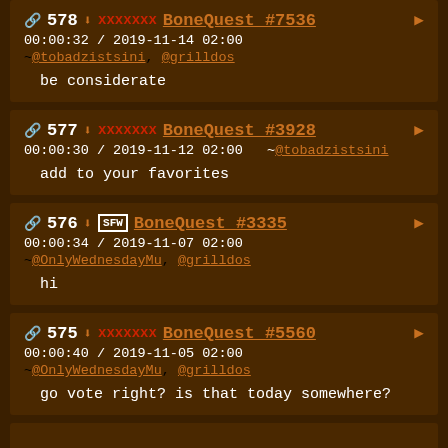578 BoneQuest #7536 00:00:32 / 2019-11-14 02:00 ~@tobadzistsini, @grilldos — be considerate
577 BoneQuest #3928 00:00:30 / 2019-11-12 02:00 ~@tobadzistsini — add to your favorites
576 BoneQuest #3335 [SFW] 00:00:34 / 2019-11-07 02:00 ~@OnlyWednesdayMu, @grilldos — hi
575 BoneQuest #5560 00:00:40 / 2019-11-05 02:00 ~@OnlyWednesdayMu, @grilldos — go vote right? is that today somewhere?